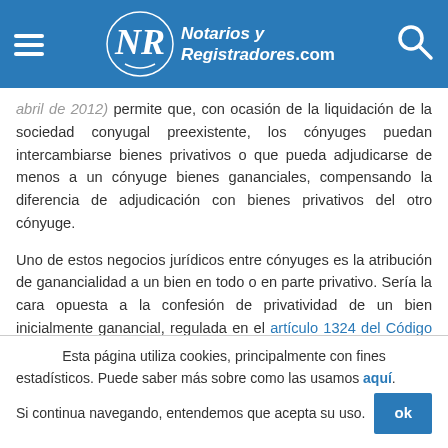Notarios y Registradores.com
abril de 2012) permite que, con ocasión de la liquidación de la sociedad conyugal preexistente, los cónyuges puedan intercambiarse bienes privativos o que pueda adjudicarse de menos a un cónyuge bienes gananciales, compensando la diferencia de adjudicación con bienes privativos del otro cónyuge.
Uno de estos negocios jurídicos entre cónyuges es la atribución de ganancialidad a un bien en todo o en parte privativo. Sería la cara opuesta a la confesión de privatividad de un bien inicialmente ganancial, regulada en el artículo 1324 del Código Civil.
Esta página utiliza cookies, principalmente con fines estadísticos. Puede saber más sobre como las usamos aquí. Si continua navegando, entendemos que acepta su uso.